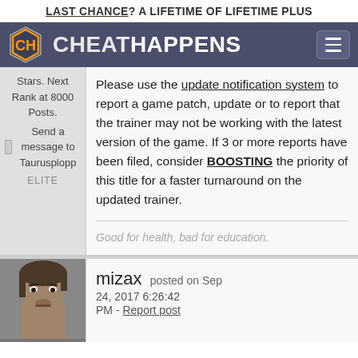LAST CHANCE? A LIFETIME OF LIFETIME PLUS
[Figure (logo): CheatHappens logo with hexagonal CH emblem and site name in white on dark purple nav bar]
Stars. Next Rank at 8000 Posts. Send a message to Taurusplopp ELITE
Please use the update notification system to report a game patch, update or to report that the trainer may not be working with the latest version of the game. If 3 or more reports have been filed, consider BOOSTING the priority of this title for a faster turnaround on the updated trainer.
Good for health, bad for education.
mizax posted on Sep 24, 2017 6:26:42 PM - Report post
[Figure (photo): Avatar photo of a man with dark hair looking intensely at camera]